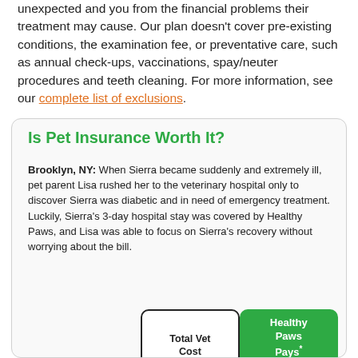unexpected and you from the financial problems their treatment may cause. Our plan doesn't cover pre-existing conditions, the examination fee, or preventative care, such as annual check-ups, vaccinations, spay/neuter procedures and teeth cleaning. For more information, see our complete list of exclusions.
Is Pet Insurance Worth It?
Brooklyn, NY: When Sierra became suddenly and extremely ill, pet parent Lisa rushed her to the veterinary hospital only to discover Sierra was diabetic and in need of emergency treatment. Luckily, Sierra's 3-day hospital stay was covered by Healthy Paws, and Lisa was able to focus on Sierra's recovery without worrying about the bill.
|  | Total Vet Cost | Healthy Paws Pays* |
| --- | --- | --- |
| Diabetic Ketoacidosis + 3 Day... | $4,500 | $3,950 |